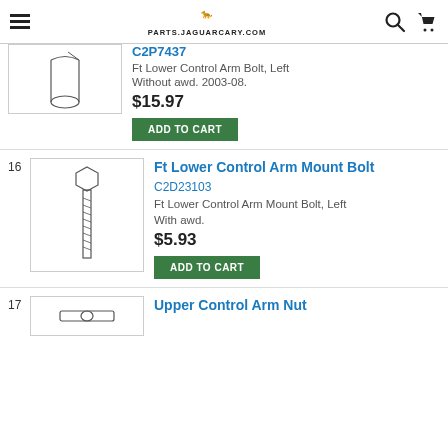PARTS.JAGUARCARY.COM
[Figure (illustration): Line drawing of a cylindrical bolt or pin, partial view]
C2P7437
Ft Lower Control Arm Bolt, Left
Without awd. 2003-08.
$15.97
ADD TO CART
16
[Figure (illustration): Line drawing of a hex-head bolt with threaded shank]
Ft Lower Control Arm Mount Bolt
C2D23103
Ft Lower Control Arm Mount Bolt, Left
With awd.
$5.93
ADD TO CART
17
Upper Control Arm Nut